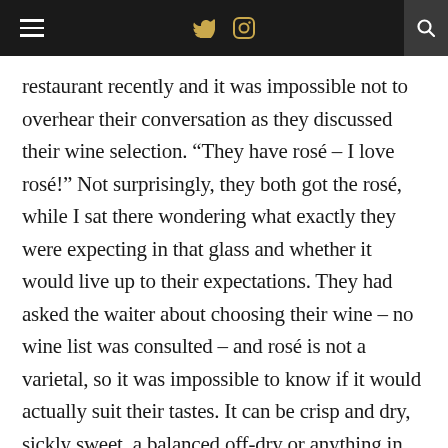[hamburger menu] [twitter icon] [instagram icon] [search icon]
restaurant recently and it was impossible not to overhear their conversation as they discussed their wine selection. “They have rosé – I love rosé!” Not surprisingly, they both got the rosé, while I sat there wondering what exactly they were expecting in that glass and whether it would live up to their expectations. They had asked the waiter about choosing their wine – no wine list was consulted – and rosé is not a varietal, so it was impossible to know if it would actually suit their tastes. It can be crisp and dry, sickly sweet, a balanced off-dry or anything in between.